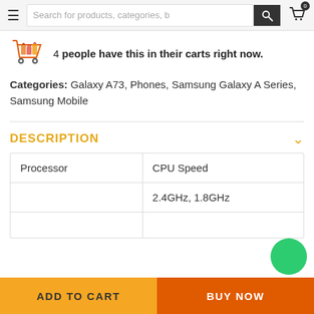Search for products, categories, b
4 people have this in their carts right now.
Categories: Galaxy A73, Phones, Samsung Galaxy A Series, Samsung Mobile
DESCRIPTION
| Processor | CPU Speed |
| --- | --- |
|  | 2.4GHz, 1.8GHz |
|  |  |